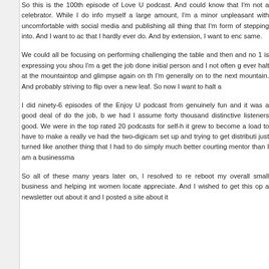So this is the 100th episode of Love U podcast. And could know that I'm not a celebrator. While I do inform myself a large amount, I'm a minor unpleasant with uncomfortable with social media and publishing all thing that I'm form of stepping into. And I want to ace that I hardly ever do. And by extension, I want to enc same.
We could all be focusing on performing challenging the table and then and no 1 is expressing you shou I'm a get the job done initial person and I not often g ever halt at the mountaintop and glimpse again on th I'm generally on to the next mountain. And probably striving to flip over a new leaf. So now I want to halt a
I did ninety-6 episodes of the Enjoy U podcast from genuinely fun and it was a good deal of do the job, b we had I assume forty thousand distinctive listeners good. We were in the top rated 20 podcasts for self-h it grew to become a load to have to make a really ve had the two-digicam set up and trying to get distributi just turned like another thing that I had to do simply much better courting mentor than I am a businessma
So all of these many years later on, I resolved to re reboot my overall small business and helping int women locate appreciate. And I wished to get this op a newsletter out about it and I posted a site about it